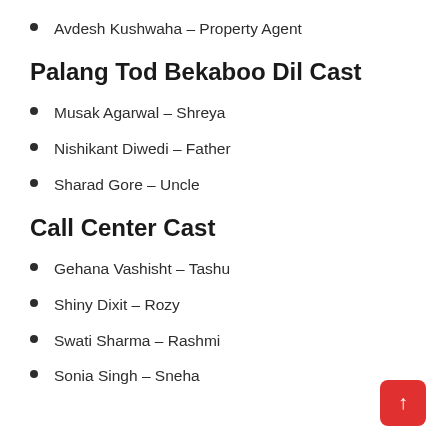Avdesh Kushwaha – Property Agent
Palang Tod Bekaboo Dil Cast
Musak Agarwal – Shreya
Nishikant Diwedi – Father
Sharad Gore – Uncle
Call Center Cast
Gehana Vashisht – Tashu
Shiny Dixit – Rozy
Swati Sharma – Rashmi
Sonia Singh – Sneha